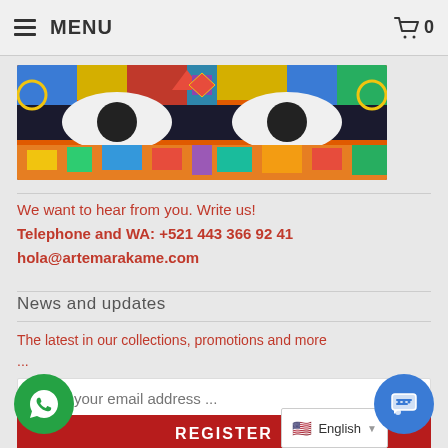MENU   0
contact us at
[Figure (photo): Colorful Huichol beadwork art featuring stylized animal eyes in vivid blues, reds, yellows, and greens]
We want to hear from you. Write us!
Telephone and WA: +521 443 366 92 41
hola@artemarakame.com
News and updates
The latest in our collections, promotions and more ...
Enter your email address ...
REGISTER
English